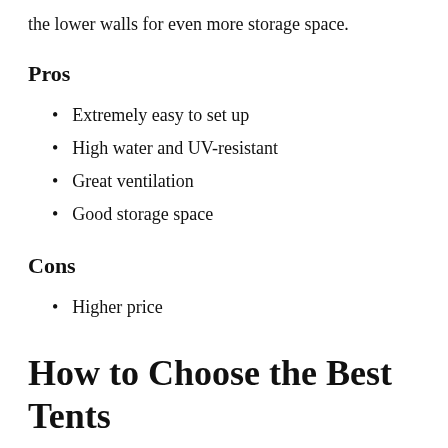the lower walls for even more storage space.
Pros
Extremely easy to set up
High water and UV-resistant
Great ventilation
Good storage space
Cons
Higher price
How to Choose the Best Tents
If you're a couple and about to go on something as exciting but also require lots of preparations such as a